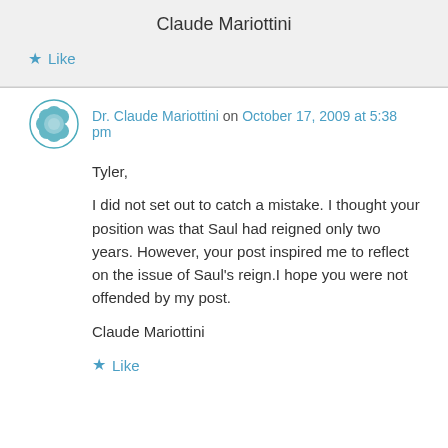Claude Mariottini
Like
Dr. Claude Mariottini on October 17, 2009 at 5:38 pm
Tyler,

I did not set out to catch a mistake. I thought your position was that Saul had reigned only two years. However, your post inspired me to reflect on the issue of Saul's reign.I hope you were not offended by my post.

Claude Mariottini
Like